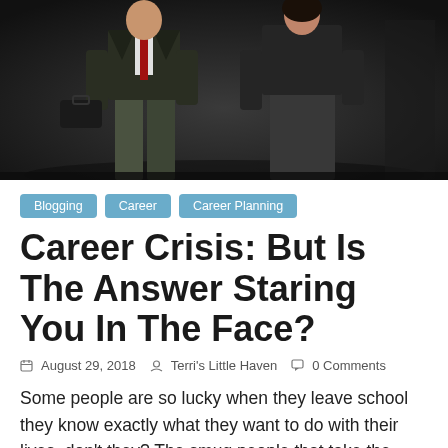[Figure (photo): Two business professionals walking side by side. The person on the left is a man wearing a suit with a red tie and carrying a briefcase. The person on the right is a woman in a dark suit. Dark, moody background.]
Blogging  Career  Career Planning
Career Crisis: But Is The Answer Staring You In The Face?
August 29, 2018  Terri's Little Haven  0 Comments
Some people are so lucky when they leave school they know exactly what they want to do with their lives, don't they? The smug people that take the right degrees and gain the right qualifications to